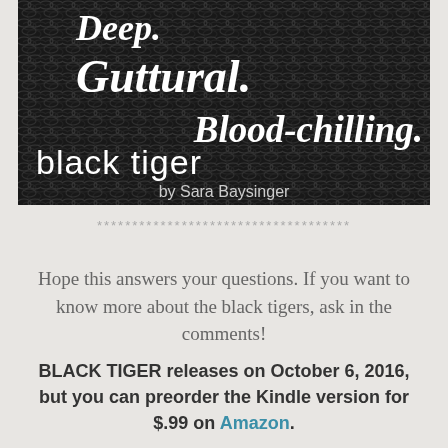[Figure (illustration): Book cover for 'black tiger' by Sara Baysinger. Dark textured background with white italic text: 'Deep.' 'Guttural.' 'Blood-chilling.' with book title 'black tiger' and 'by Sara Baysinger' at bottom.]
************************************
Hope this answers your questions. If you want to know more about the black tigers, ask in the comments!
BLACK TIGER releases on October 6, 2016, but you can preorder the Kindle version for $.99 on Amazon.